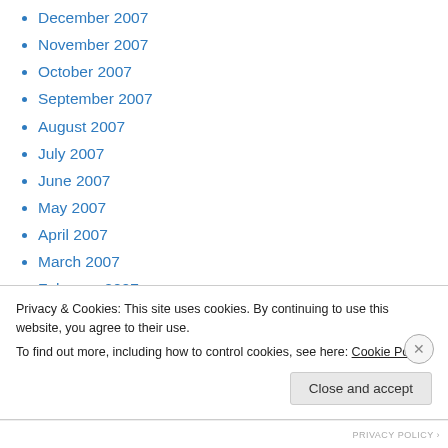December 2007
November 2007
October 2007
September 2007
August 2007
July 2007
June 2007
May 2007
April 2007
March 2007
February 2007
January 2007
December 2006
November 2006
Privacy & Cookies: This site uses cookies. By continuing to use this website, you agree to their use.
To find out more, including how to control cookies, see here: Cookie Policy
Close and accept